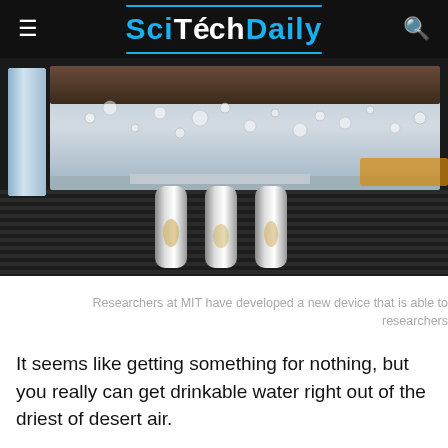SciTechDaily
[Figure (photo): Close-up photo of a water-from-air device prototype showing a transparent chamber with moisture droplets and metal heat pipe fins, developed by MIT researchers.]
Researchers at MIT have developed a new device that is able to researchers
It seems like getting something for nothing, but you really can get drinkable water right out of the driest of desert air.
Even in the most arid places on Earth, there is some moisture in the air, and a practical way to extract that